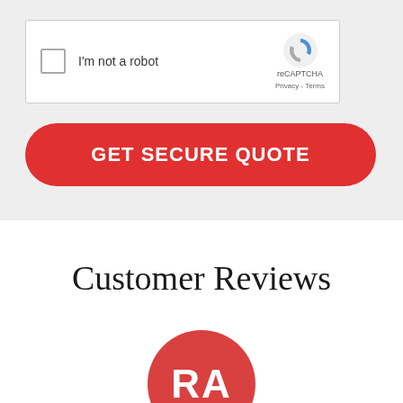[Figure (other): reCAPTCHA widget with checkbox labeled 'I'm not a robot' and Google reCAPTCHA logo with Privacy and Terms links]
GET SECURE QUOTE
Customer Reviews
[Figure (illustration): Red circular avatar with white initials 'RA']